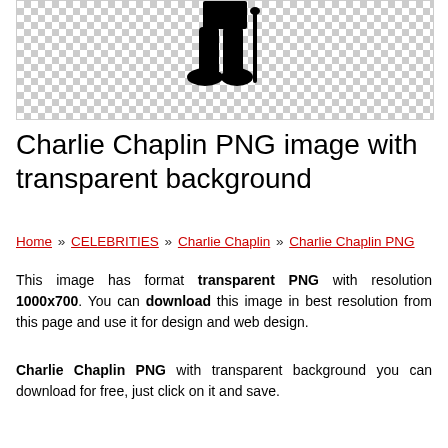[Figure (illustration): Charlie Chaplin silhouette on a transparent (checkered) background showing lower body with cane]
Charlie Chaplin PNG image with transparent background
Home » CELEBRITIES » Charlie Chaplin » Charlie Chaplin PNG
This image has format transparent PNG with resolution 1000x700. You can download this image in best resolution from this page and use it for design and web design.
Charlie Chaplin PNG with transparent background you can download for free, just click on it and save.